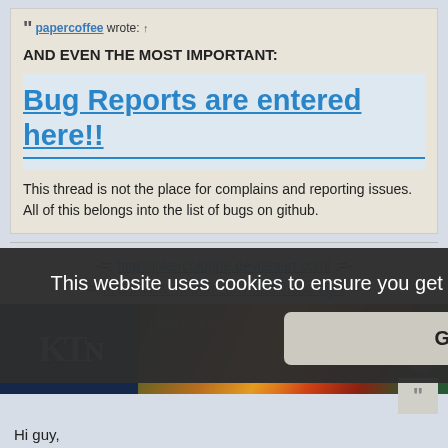papercoffee wrote: ↑
AND EVEN THE MOST IMPORTANT:
Bug Reports are entered here!!
This thread is not the place for complains and reporting issues. All of this belongs into the list of bugs on github.
-=: http://jokercologne.deviantart.com/ :=-
-=: http://www.moddb.com/mods/food-fight :=-
[Figure (illustration): Game banner image showing 'Book Two' with pixel art characters]
This website uses cookies to ensure you get the best experience on our website. Learn more
Got it!
Hi guy,